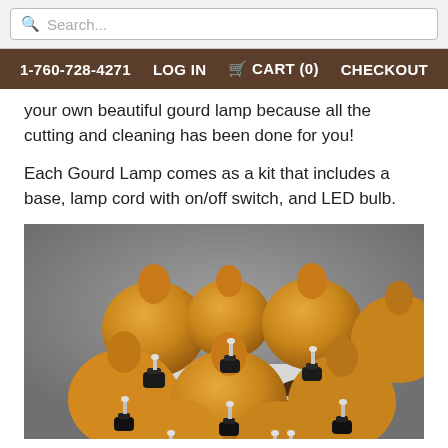Search...
1-760-728-4271   LOG IN   CART (0)   CHECKOUT
your own beautiful gourd lamp because all the cutting and cleaning has been done for you!
Each Gourd Lamp comes as a kit that includes a base, lamp cord with on/off switch, and LED bulb.
[Figure (photo): Multiple round gourd lamp kits with black lamp bases and LED bulbs, arranged on tiered white and wood platforms against a gray background.]